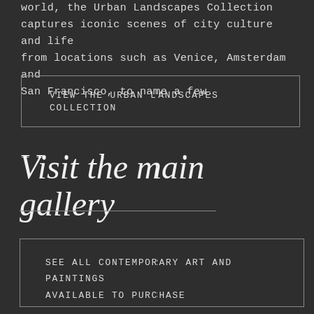world, the Urban Landscapes Collection captures iconic scenes of city culture and life from locations such as Venice, Amsterdam and San Francisco, to name a few.
VIEW THE URBAN LANDSCAPES COLLECTION
Visit the main gallery
SEE ALL CONTEMPORARY ART AND PAINTINGS AVAILABLE TO PURCHASE